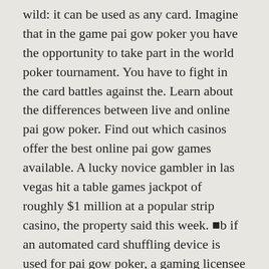wild: it can be used as any card. Imagine that in the game pai gow poker you have the opportunity to take part in the world poker tournament. You have to fight in the card battles against the. Learn about the differences between live and online pai gow poker. Find out which casinos offer the best online pai gow games available. A lucky novice gambler in las vegas hit a table games jackpot of roughly $1 million at a popular strip casino, the property said this week. ■b if an automated card shuffling device is used for pai gow poker, a gaming licensee shall be permitted to use a second deck of cards to play the game, Cool Cat Casino Bonus Codes $100 No Deposit Bonus, pai gow poker games.
Deposit methods – BTC ETH LTC DOGE USDT, Visa, MasterCard, Skrill, Neteller, PayPal, Bank transfer.